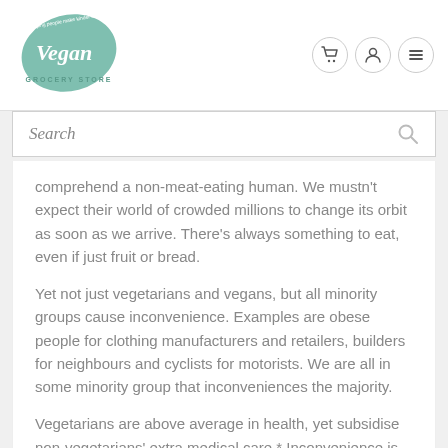[Figure (logo): Vegan Grocery Store logo — a green leaf shape with cursive 'Vegan' text and 'GROCERY STORE' text below, with tagline around the top edge]
[Figure (other): Navigation icons: shopping cart, user profile, and hamburger menu — each in a circular bordered button]
Search
comprehend a non-meat-eating human. We mustn't expect their world of crowded millions to change its orbit as soon as we arrive. There's always something to eat, even if just fruit or bread.
Yet not just vegetarians and vegans, but all minority groups cause inconvenience. Examples are obese people for clothing manufacturers and retailers, builders for neighbours and cyclists for motorists. We are all in some minority group that inconveniences the majority.
Vegetarians are above average in health, yet subsidise non-vegetarians' extra medical care.* Inconvenience is both ways.